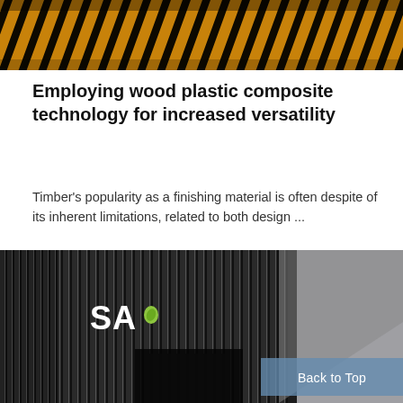[Figure (photo): Close-up of angled wooden/metal slat ceiling with alternating dark and golden/amber colored strips, architectural interior detail]
Employing wood plastic composite technology for increased versatility
Timber's popularity as a finishing material is often despite of its inherent limitations, related to both design ...
[Figure (photo): Black and white architectural photo showing a building interior or exterior with vertical metal fins/slats forming a geometric pattern. The SA logo with a small green leaf icon is visible in the upper left. A 'Back to Top' button overlay appears in the lower right corner.]